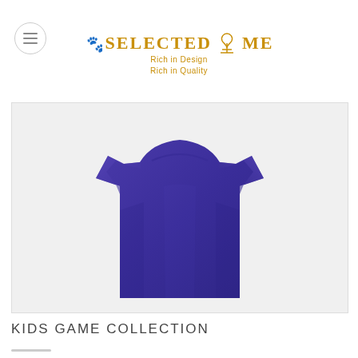SELECTED ME — Rich in Design, Rich in Quality
[Figure (photo): A plain purple/navy blue kids t-shirt displayed on a light grey background, front view, short sleeves, crew neck]
KIDS GAME COLLECTION